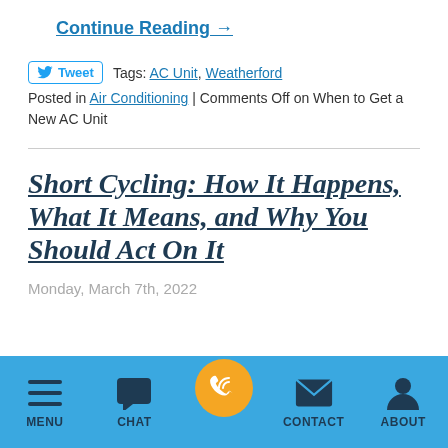Continue Reading →
Tweet  Tags: AC Unit, Weatherford
Posted in Air Conditioning | Comments Off on When to Get a New AC Unit
Short Cycling: How It Happens, What It Means, and Why You Should Act On It
Monday, March 7th, 2022
MENU  CHAT  CONTACT  ABOUT